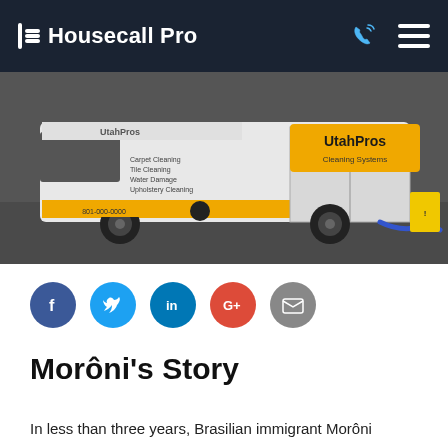Housecall Pro
[Figure (photo): White UtahPros Cleaning Systems van parked on pavement with blue hose connected to it and yellow caution sign visible on the right side.]
[Figure (infographic): Social media share buttons: Facebook, Twitter, LinkedIn, Google+, Email]
Morôni's Story
In less than three years, Brasilian immigrant Morôni